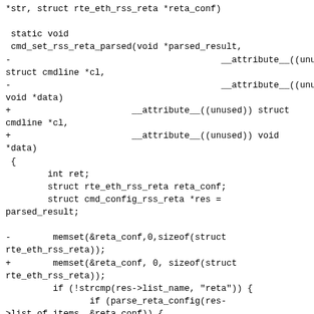*str, struct rte_eth_rss_reta *reta_conf)

 static void
 cmd_set_rss_reta_parsed(void *parsed_result,
-                                        __attribute__((unused))
struct cmdline *cl,
-                                        __attribute__((unused))
void *data)
+                       __attribute__((unused)) struct
cmdline *cl,
+                       __attribute__((unused)) void
*data)
 {
        int ret;
        struct rte_eth_rss_reta reta_conf;
        struct cmd_config_rss_reta *res =
parsed_result;

-        memset(&reta_conf,0,sizeof(struct
rte_eth_rss_reta));
+        memset(&reta_conf, 0, sizeof(struct
rte_eth_rss_reta));
         if (!strcmp(res->list_name, "reta")) {
                if (parse_reta_config(res-
>list_of_items, &reta_conf)) {
-                        printf("Invalid RSS Redirection
Table config entered\n");
+                        printf("Invalid RSS Redirection
Table "
+                               "config